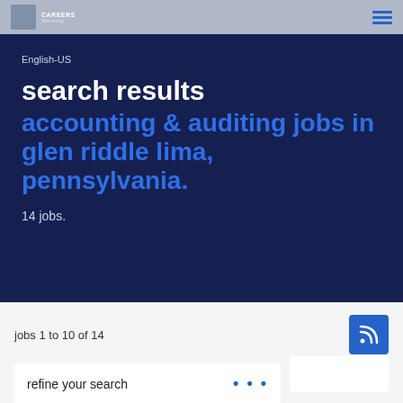English-US
search results
accounting & auditing jobs in glen riddle lima, pennsylvania.
14 jobs.
jobs 1 to 10 of 14
refine your search